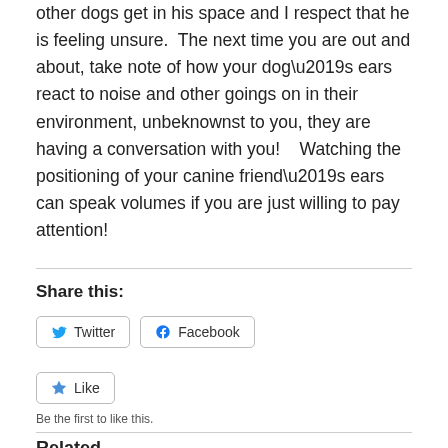other dogs get in his space and I respect that he is feeling unsure.  The next time you are out and about, take note of how your dog’s ears react to noise and other goings on in their environment, unbeknownst to you, they are having a conversation with you!    Watching the positioning of your canine friend’s ears can speak volumes if you are just willing to pay attention!
Share this:
[Figure (other): Twitter and Facebook share buttons]
[Figure (other): Like button]
Be the first to like this.
Related